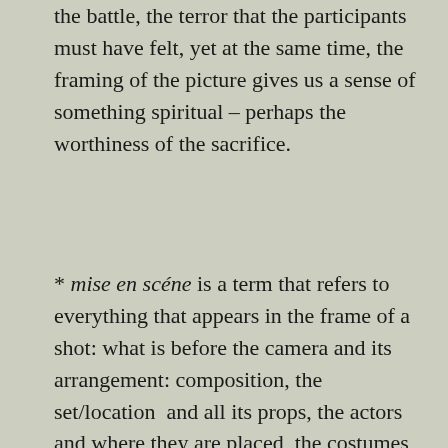the battle, the terror that the participants must have felt, yet at the same time, the framing of the picture gives us a sense of something spiritual – perhaps the worthiness of the sacrifice.
* mise en scéne is a term that refers to everything that appears in the frame of a shot: what is before the camera and its arrangement: composition, the set/location and all its props, the actors and where they are placed, the costumes, and the lighting. It can also include